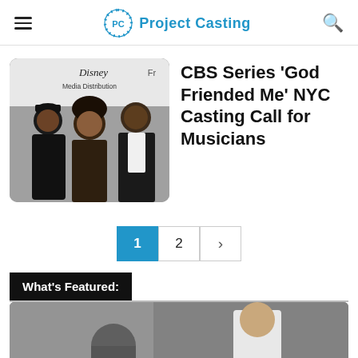Project Casting
[Figure (photo): Three people posing at a Disney Media Distribution event. Text visible: 'Disney Media Distribution', 'Fr']
CBS Series 'God Friended Me' NYC Casting Call for Musicians
1  2  >
What's Featured:
[Figure (photo): Partially visible photo showing people, one with dark hair looking down, another in white shirt]